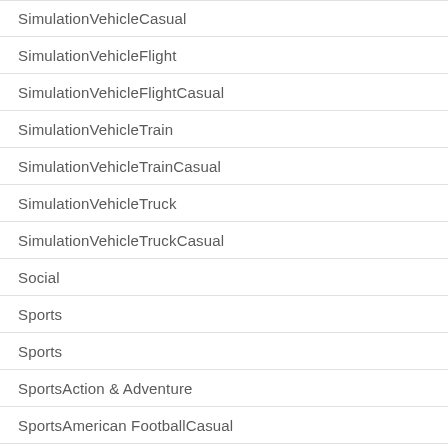SimulationVehicleCasual
SimulationVehicleFlight
SimulationVehicleFlightCasual
SimulationVehicleTrain
SimulationVehicleTrainCasual
SimulationVehicleTruck
SimulationVehicleTruckCasual
Social
Sports
Sports
SportsAction & Adventure
SportsAmerican FootballCasual
SportsBilliards